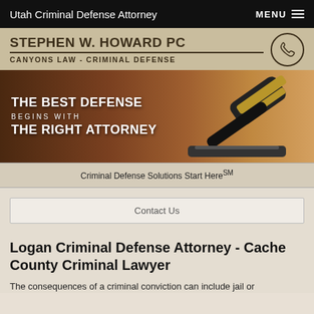Utah Criminal Defense Attorney   MENU
[Figure (logo): Stephen W. Howard PC - Canyons Law - Criminal Defense logo with phone icon]
[Figure (photo): Hero banner with gavel image and text: THE BEST DEFENSE BEGINS WITH THE RIGHT ATTORNEY]
Criminal Defense Solutions Start Here℠
Contact Us
Logan Criminal Defense Attorney - Cache County Criminal Lawyer
The consequences of a criminal conviction can include jail or